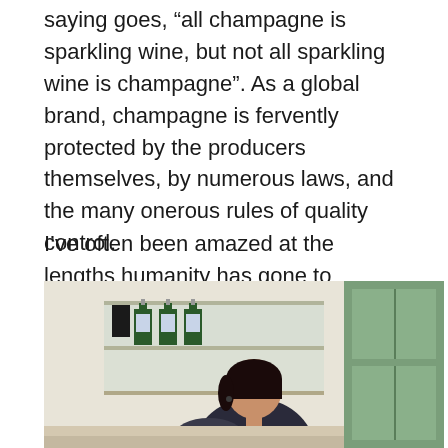saying goes, “all champagne is sparkling wine, but not all sparkling wine is champagne”. As a global brand, champagne is fervently protected by the producers themselves, by numerous laws, and the many onerous rules of quality control.
I’ve often been amazed at the lengths humanity has gone to produce alcohol but, quite honestly, it’s a miracle that champagne ever gets made. That it does is testament to human endeavour and perseverance.
[Figure (photo): A woman with dark hair leaning over a counter or desk in what appears to be a wine shop or bar, with bottles of champagne/wine visible on glass shelves in the background and a green cabinet on the right.]